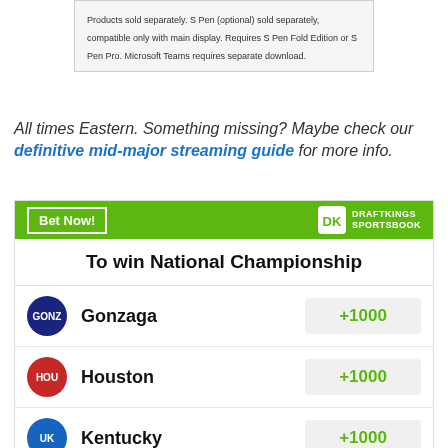Products sold separately. S Pen (optional) sold separately, compatible only with main display. Requires S Pen Fold Edition or S Pen Pro. Microsoft Teams requires separate download.
All times Eastern. Something missing? Maybe check our definitive mid-major streaming guide for more info.
| Team | Odds |
| --- | --- |
| Gonzaga | +1000 |
| Houston | +1000 |
| Kentucky | +1000 |
| North Carolina | +1000 |
Odds/Lines subject to change. See draftkings.com for details.